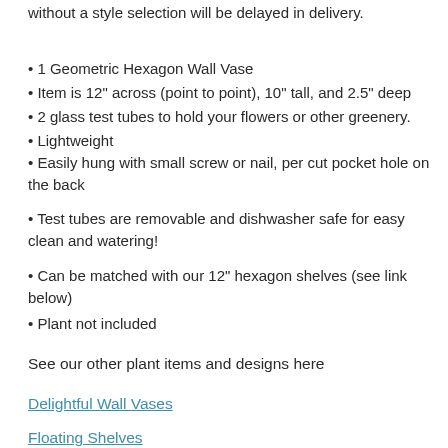without a style selection will be delayed in delivery.
• 1 Geometric Hexagon Wall Vase
• Item is 12" across (point to point), 10" tall, and 2.5" deep
• 2 glass test tubes to hold your flowers or other greenery.
• Lightweight
• Easily hung with small screw or nail, per cut pocket hole on the back
• Test tubes are removable and dishwasher safe for easy clean and watering!
• Can be matched with our 12" hexagon shelves (see link below)
• Plant not included
See our other plant items and designs here
Delightful Wall Vases
Floating Shelves